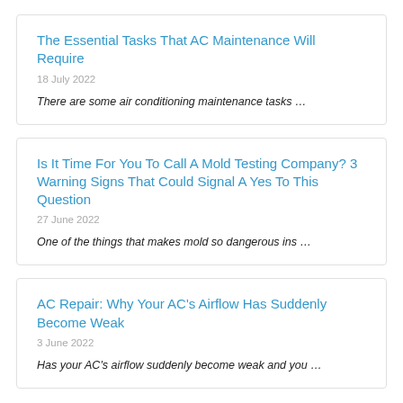The Essential Tasks That AC Maintenance Will Require
18 July 2022
There are some air conditioning maintenance tasks …
Is It Time For You To Call A Mold Testing Company? 3 Warning Signs That Could Signal A Yes To This Question
27 June 2022
One of the things that makes mold so dangerous ins …
AC Repair: Why Your AC's Airflow Has Suddenly Become Weak
3 June 2022
Has your AC's airflow suddenly become weak and you …